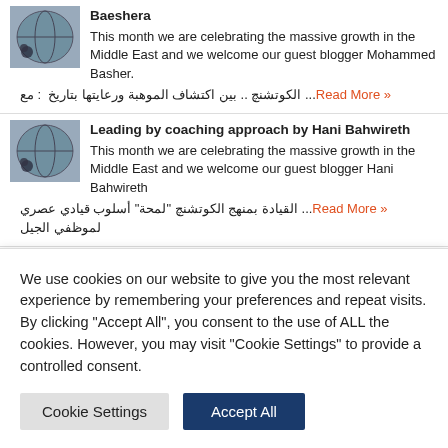Baeshera
This month we are celebrating the massive growth in the Middle East and we welcome our guest blogger Mohammed Basher. الكوتشنچ .. بين اكتشاف الموهبة ورعايتها بتاريخ : مع ...Read More »
Leading by coaching approach by Hani Bahwireth
This month we are celebrating the massive growth in the Middle East and we welcome our guest blogger Hani Bahwireth القيادة بمنهج الكوتشنچ "لمحة" أسلوب قيادي عصري لموظفي الجيل ...Read More »
Introduction to coaching by Hani Bahwireth
:This month we are celebrating the massive growth in the Middle East and we welcome our guest
We use cookies on our website to give you the most relevant experience by remembering your preferences and repeat visits. By clicking "Accept All", you consent to the use of ALL the cookies. However, you may visit "Cookie Settings" to provide a controlled consent.
Cookie Settings
Accept All